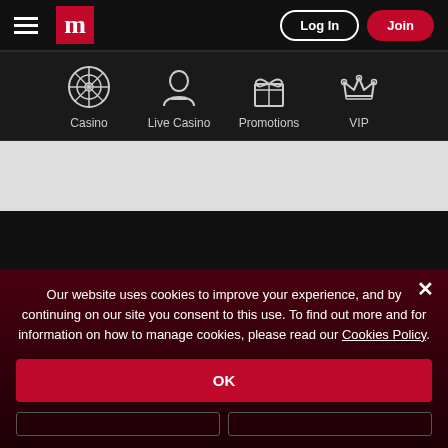Log In | Join
[Figure (screenshot): Navigation icon bar with Casino, Live Casino, Promotions, VIP icons]
Our website uses cookies to improve your experience, and by continuing on our site you consent to this use. To find out more and for information on how to manage cookies, please read our Cookies Policy.